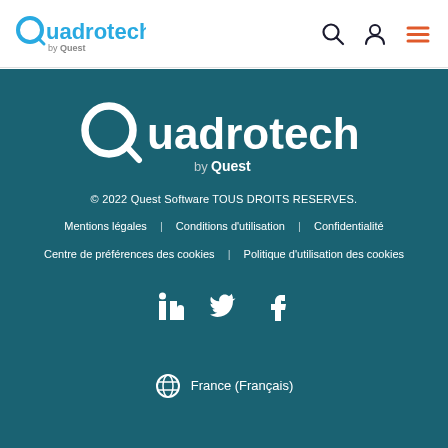Quadrotech by Quest — navigation header with search, user, and menu icons
[Figure (logo): Quadrotech by Quest large white logo on teal background]
© 2022 Quest Software TOUS DROITS RESERVES.
Mentions légales  |  Conditions d'utilisation  |  Confidentialité
Centre de préférences des cookies  |  Politique d'utilisation des cookies
[Figure (infographic): Social media icons: LinkedIn, Twitter, Facebook]
France (Français)